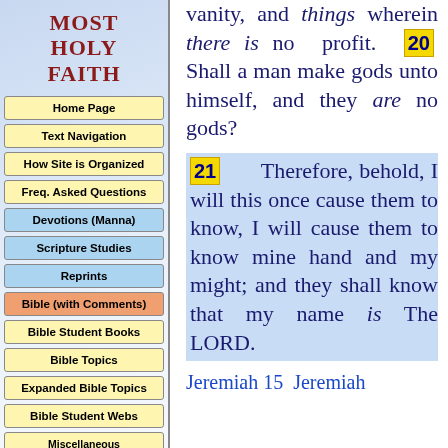MOST HOLY FAITH
Home Page
Text Navigation
How Site is Organized
Freq. Asked Questions
Devotions (Manna)
Scripture Studies
Reprints
Bible (with Comments)
Bible Student Books
Bible Topics
Expanded Bible Topics
Bible Student Webs
Miscellaneous
vanity, and things wherein there is no profit. 20 Shall a man make gods unto himself, and they are no gods? 21 Therefore, behold, I will this once cause them to know, I will cause them to know mine hand and my might; and they shall know that my name is The LORD.
Jeremiah 15  Jeremiah